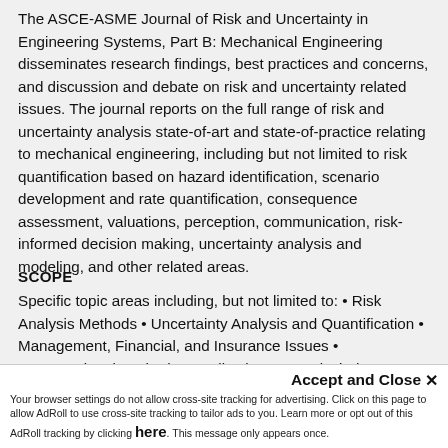The ASCE-ASME Journal of Risk and Uncertainty in Engineering Systems, Part B: Mechanical Engineering disseminates research findings, best practices and concerns, and discussion and debate on risk and uncertainty related issues. The journal reports on the full range of risk and uncertainty analysis state-of-art and state-of-practice relating to mechanical engineering, including but not limited to risk quantification based on hazard identification, scenario development and rate quantification, consequence assessment, valuations, perception, communication, risk-informed decision making, uncertainty analysis and modeling, and other related areas.
SCOPE
Specific topic areas including, but not limited to: • Risk Analysis Methods • Uncertainty Analysis and Quantification • Management, Financial, and Insurance Issues • Computational Methods • Applications areas include every aspect of mechanical engineering systems such as: Mechanical Assets and Infrastructure... Manufacturing... Method-based and Condition Monitoring...
Accept and Close ✕
Your browser settings do not allow cross-site tracking for advertising. Click on this page to allow AdRoll to use cross-site tracking to tailor ads to you. Learn more or opt out of this AdRoll tracking by clicking here. This message only appears once.